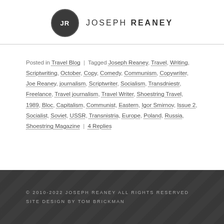JR JOSEPH REANEY
Posted in Travel Blog | Tagged Joseph Reaney, Travel, Writing, Scriptwriting, October, Copy, Comedy, Communism, Copywriter, Joe Reaney, journalism, Scriptwriter, Socialism, Transdniestr, Freelance, Travel journalism, Travel Writer, Shoestring Travel, 1989, Bloc, Capitalism, Communist, Eastern, Igor Smirnov, Issue 2, Socialist, Soviet, USSR, Transnistria, Europe, Poland, Russia, Shoestring Magazine | 4 Replies
© 2010-2022 JOSEPH REANEY ALL RIGHTS RESERVED SITE DESIGN BY TOM BRICKMAN